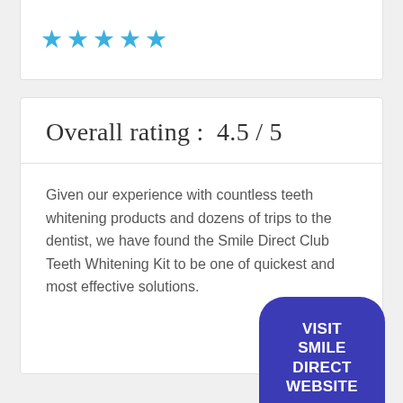[Figure (other): Five blue star rating icons displayed in a row]
Overall rating :  4.5 / 5
Given our experience with countless teeth whitening products and dozens of trips to the dentist, we have found the Smile Direct Club Teeth Whitening Kit to be one of quickest and most effective solutions.
VISIT SMILE DIRECT WEBSITE